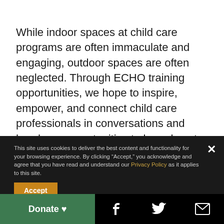While indoor spaces at child care programs are often immaculate and engaging, outdoor spaces are often neglected. Through ECHO training opportunities, we hope to inspire, empower, and connect child care professionals in conversations and hands-on opportunities to learn how to create dynamic, natural, and engaging outdoor spaces.
This site uses cookies to deliver the best content and functionality for your browsing experience. By clicking "Accept," you acknowledge and agree that you have read and understand our Privacy Policy as it applies to this site.
Accept
Donate ♥